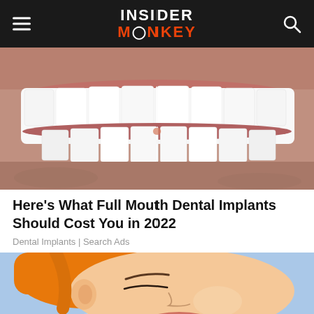INSIDER MONKEY
[Figure (photo): Close-up photo of a man's smile showing dental implants/teeth]
Here's What Full Mouth Dental Implants Should Cost You in 2022
Dental Implants | Search Ads
[Figure (illustration): Cartoon/comic style illustration of a person lying down with eyes closed]